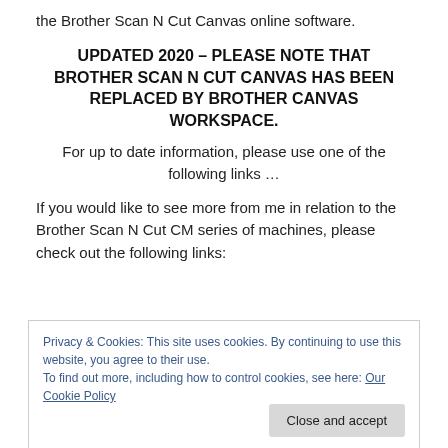the Brother Scan N Cut Canvas online software.
UPDATED 2020 – PLEASE NOTE THAT BROTHER SCAN N CUT CANVAS HAS BEEN REPLACED BY BROTHER CANVAS WORKSPACE.
For up to date information, please use one of the following links …
If you would like to see more from me in relation to the Brother Scan N Cut CM series of machines, please check out the following links:
Privacy & Cookies: This site uses cookies. By continuing to use this website, you agree to their use.
To find out more, including how to control cookies, see here: Our Cookie Policy
Close and accept